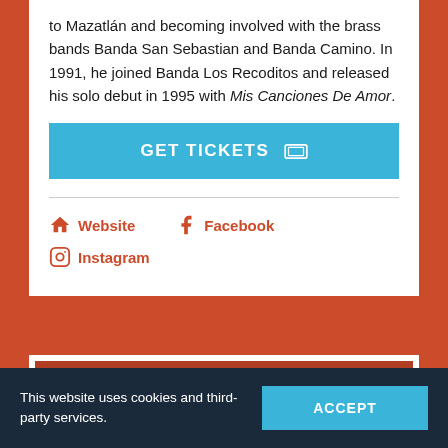to Mazatlán and becoming involved with the brass bands Banda San Sebastian and Banda Camino. In 1991, he joined Banda Los Recoditos and released his solo debut in 1995 with Mis Canciones De Amor.
[Figure (other): GET TICKETS button in teal/blue color with a ticket icon]
Website
Facebook
Instagram
[Figure (other): JOIN OUR MAILING L... banner section partially visible with dark blue text on orange-red background]
This website uses cookies and third-party services.
[Figure (other): ACCEPT button in teal/blue for cookie consent]